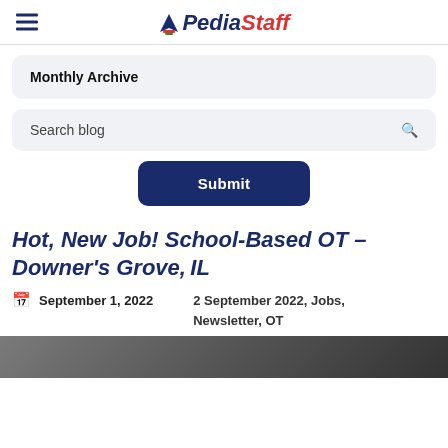PediaStaff
Monthly Archive
Search blog
Submit
Hot, New Job! School-Based OT – Downer's Grove, IL
September 1, 2022
2 September 2022, Jobs, Newsletter, OT
[Figure (photo): Thumbnail image at the bottom of the page, partially visible]